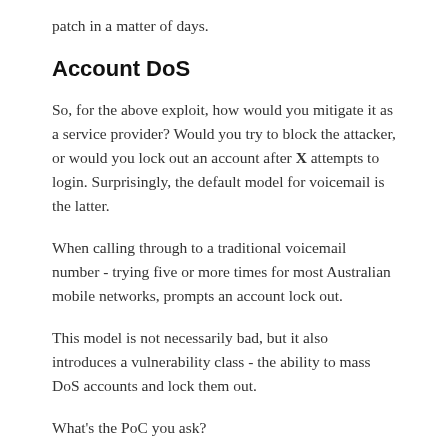patch in a matter of days.
Account DoS
So, for the above exploit, how would you mitigate it as a service provider? Would you try to block the attacker, or would you lock out an account after X attempts to login. Surprisingly, the default model for voicemail is the latter.
When calling through to a traditional voicemail number - trying five or more times for most Australian mobile networks, prompts an account lock out.
This model is not necessarily bad, but it also introduces a vulnerability class - the ability to mass DoS accounts and lock them out.
What's the PoC you ask?